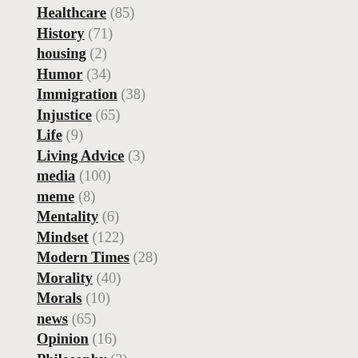Healthcare (85)
History (71)
housing (2)
Humor (34)
Immigration (38)
Injustice (65)
Life (9)
Living Advice (3)
media (100)
meme (8)
Mentality (6)
Mindset (122)
Modern Times (28)
Morality (40)
Morals (10)
news (65)
Opinion (16)
Philosophy (3)
Pictures (1)
Politics (982)
Quickypinion (15)